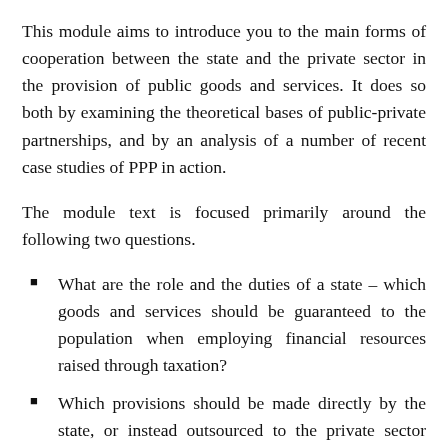This module aims to introduce you to the main forms of cooperation between the state and the private sector in the provision of public goods and services. It does so both by examining the theoretical bases of public-private partnerships, and by an analysis of a number of recent case studies of PPP in action.
The module text is focused primarily around the following two questions.
What are the role and the duties of a state – which goods and services should be guaranteed to the population when employing financial resources raised through taxation?
Which provisions should be made directly by the state, or instead outsourced to the private sector operating on its behalf?
Learning outcomes